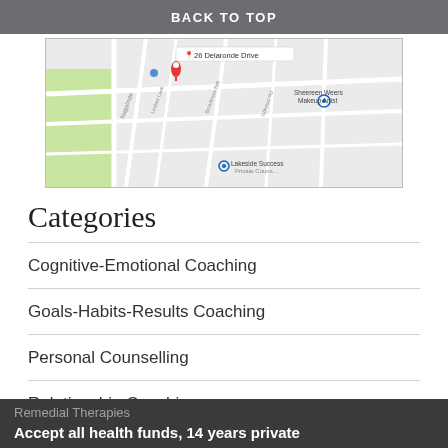BACK TO TOP
[Figure (map): Google Maps screenshot showing the location of 26 Delaronde Drive, with street map, green park area, and nearby landmarks including Sheereen Weers Makeup Artist and Lakeside Success.]
Categories
Cognitive-Emotional Coaching
Goals-Habits-Results Coaching
Personal Counselling
Relationship Coaching
Remedial Therapies
Accept all health funds, 14 years private